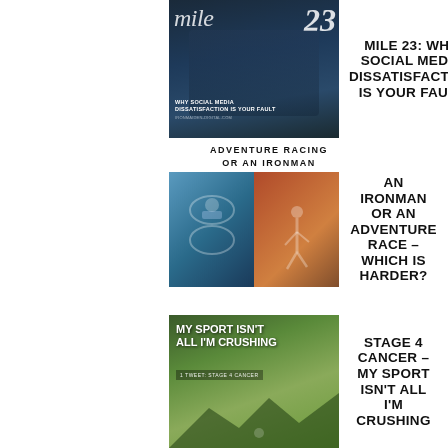[Figure (photo): Mile 23 magazine cover thumbnail showing a woman with a camera, text overlay 'mile 23' and 'WHY SOCIAL MEDIA DISSATISFACTION IS YOUR FAULT']
MILE 23: WHY SOCIAL MEDIA DISSATISFACTION IS YOUR FAULT
ADVENTURE RACING OR AN IRONMAN
[Figure (photo): Split image: left half shows cyclist in blue gear, right half shows runner on red carpet at Ironman finish]
AN IRONMAN OR AN ADVENTURE RACE – WHICH IS HARDER?
[Figure (photo): Blog post thumbnail with mountain biker, text overlay 'MY SPORT ISN'T ALL I'M CRUSHING' and 'tweet: STAGE 4 CANCER']
STAGE 4 CANCER – MY SPORT ISN'T ALL I'M CRUSHING